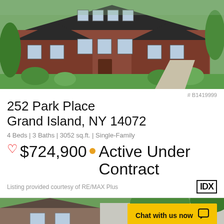[Figure (photo): Exterior photo of a two-story red brick house with landscaped front yard and trees]
# B1419999
252 Park Place
Grand Island, NY 14072
4 Beds | 3 Baths | 3052 sq.ft. | Single-Family
♡ $724,900 ● Active Under Contract
Listing provided courtesy of RE/MAX Plus
[Figure (photo): Partial exterior photo of another house, with a yellow chat button overlay reading 'Chat with us now']